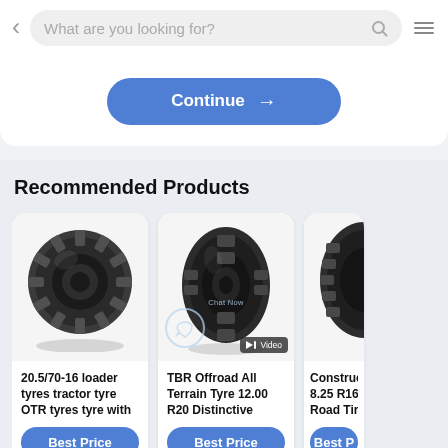[Figure (screenshot): Mobile app screenshot showing a search bar with 'What are you looking for?' placeholder, a back chevron, search icon, and hamburger menu icon]
What are you looking for?
Continue →
Recommended Products
[Figure (photo): 20.5/70-16 loader tyre OTR tractor tyre - dark grey aggressive tread pattern viewed at angle]
20.5/70-16 loader tyres tractor tyre OTR tyres tyre with
Best Price
[Figure (photo): TBR Offroad All Terrain Tyre 12.00 R20 - dark tyre with hexagonal tread pattern, vertical orientation, Video badge]
TBR Offroad All Terrain Tyre 12.00 R20 Distinctive
Best Price
[Figure (photo): Construction 8.25 R16 Off Road Tires - partial view of dark tyre on right edge]
Construction 8.25 R16 Off Road Tires
Best P